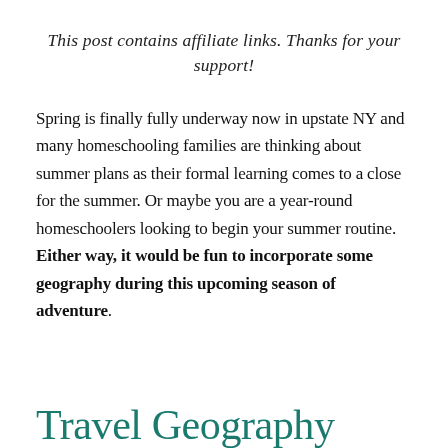This post contains affiliate links. Thanks for your support!
Spring is finally fully underway now in upstate NY and many homeschooling families are thinking about summer plans as their formal learning comes to a close for the summer. Or maybe you are a year-round homeschoolers looking to begin your summer routine. Either way, it would be fun to incorporate some geography during this upcoming season of adventure.
Travel Geography